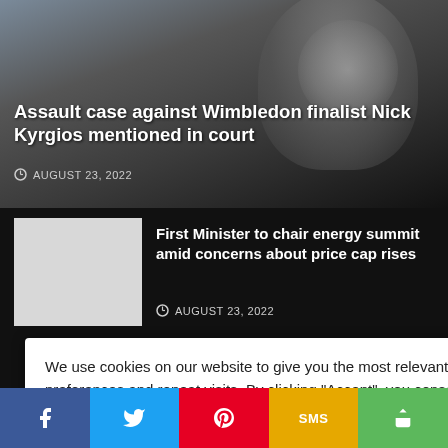[Figure (screenshot): News website screenshot with articles about Nick Kyrgios and energy summit, overlaid by cookie consent popup]
Assault case against Wimbledon finalist Nick Kyrgios mentioned in court
AUGUST 23, 2022
First Minister to chair energy summit amid concerns about price cap rises
AUGUST 23, 2022
es see Edinburgh's
he rejects Nick
We use cookies on our website to give you the most relevant experience by remembering your preferences and repeat visits. By clicking "Accept", you consent to the use of ALL the cookies.
Do not sell my personal information.
Cookie Settings
Accept